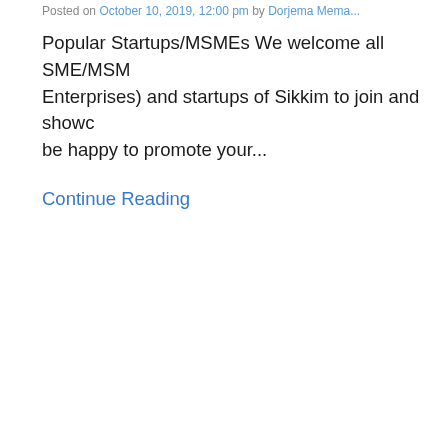Posted on October 10, 2019, 12:00 pm by Dorjema Mema...
Popular Startups/MSMEs We welcome all SME/MSM Enterprises) and startups of Sikkim to join and showc be happy to promote your...
Continue Reading